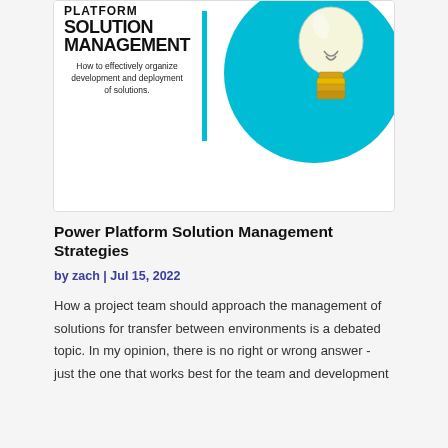[Figure (illustration): Book cover image for 'Power Platform Solution Management' showing bold black uppercase text on white background with a cyan circle and a lightbulb graphic on the right, and a cyan vertical bar. Subtitle reads: 'How to effectively organize development and deployment of solutions.']
Power Platform Solution Management Strategies
by zach | Jul 15, 2022
How a project team should approach the management of solutions for transfer between environments is a debated topic. In my opinion, there is no right or wrong answer - just the one that works best for the team and development